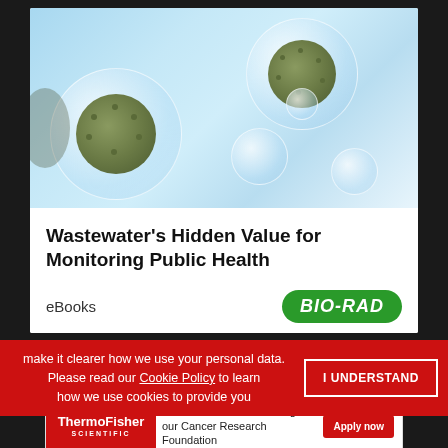[Figure (illustration): Scientific illustration showing multiple translucent spherical bubbles/droplets containing virus-like particles (resembling coronavirus) on a light blue background. The virus particles have spiky exteriors visible inside the clear spheres.]
Wastewater's Hidden Value for Monitoring Public Health
eBooks
[Figure (logo): BIO-RAD logo in white italic text on a green oval/pill-shaped background]
make it clearer how we use your personal data.
Please read our Cookie Policy to learn how we use cookies to provide you
I UNDERSTAND
[Figure (logo): ThermoFisher Scientific logo in white text on red background]
Assistance available through our Cancer Research Foundation
Apply now
ADVERTISEMENT